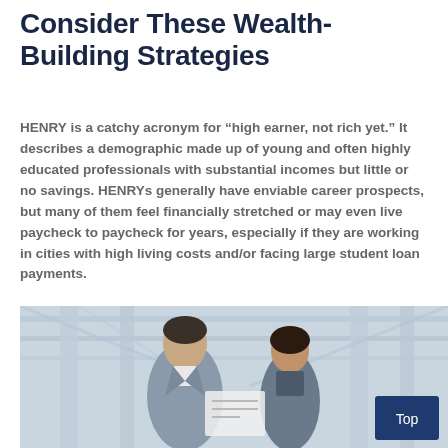Consider These Wealth-Building Strategies
HENRY is a catchy acronym for “high earner, not rich yet.” It describes a demographic made up of young and often highly educated professionals with substantial incomes but little or no savings. HENRYs generally have enviable career prospects, but many of them feel financially stretched or may even live paycheck to paycheck for years, especially if they are working in cities with high living costs and/or facing large student loan payments.
[Figure (photo): Two young professionals, a man in a grey suit and a woman, looking at documents together in a modern building with architectural columns in the background. A dark navy 'Top' button overlay appears in the bottom right corner.]